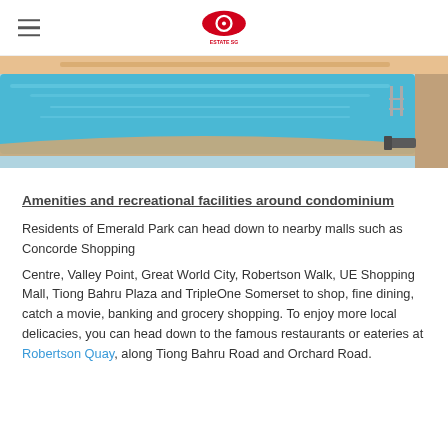[Logo: Estate SG] [hamburger menu]
[Figure (photo): Aerial/side view of a blue outdoor swimming pool at a condominium, with pool deck and lounge chairs on the right side.]
Amenities and recreational facilities around condominium
Residents of Emerald Park can head down to nearby malls such as Concorde Shopping
Centre, Valley Point, Great World City, Robertson Walk, UE Shopping Mall, Tiong Bahru Plaza and TripleOne Somerset to shop, fine dining, catch a movie, banking and grocery shopping. To enjoy more local delicacies, you can head down to the famous restaurants or eateries at Robertson Quay, along Tiong Bahru Road and Orchard Road.